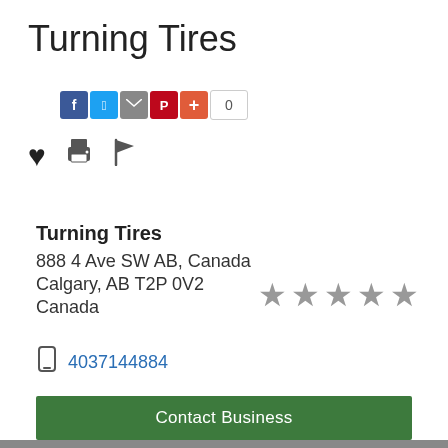Turning Tires
[Figure (infographic): Social share buttons: Facebook, Twitter, Email, Pinterest, Plus, with count of 0]
[Figure (infographic): Action icons: heart (favourite), printer, flag; and 5 grey stars rating]
Turning Tires
888 4 Ave SW AB, Canada
Calgary, AB T2P 0V2
Canada
4037144884
Contact Business